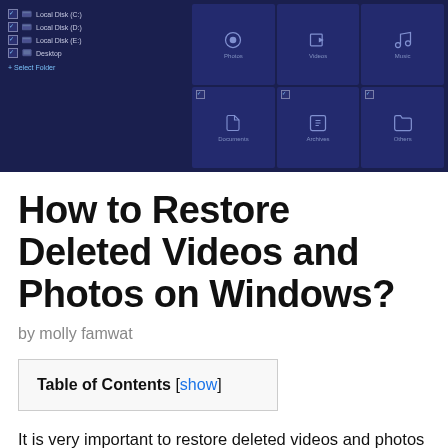[Figure (screenshot): Dark blue UI screenshot showing a file recovery application with disk selections (Local Disk C, D, E, Desktop) on the left panel and file type icons (Photos, Videos, Music, Documents, Archives, Others) with checkboxes on the right panel.]
How to Restore Deleted Videos and Photos on Windows?
by molly famwat
| Table of Contents [show] |
| --- |
It is very important to restore deleted videos and photos on Windows as they can be recovered with the help of certain software. If a user deletes